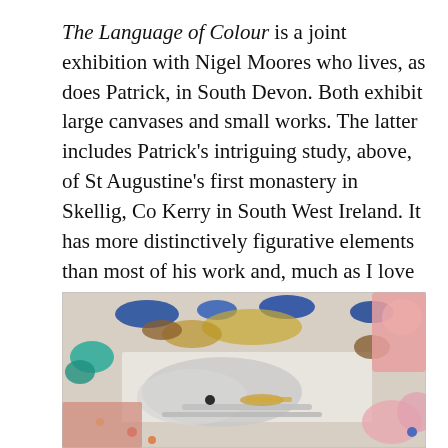The Language of Colour is a joint exhibition with Nigel Moores who lives, as does Patrick, in South Devon. Both exhibit large canvases and small works. The latter includes Patrick's intriguing study, above, of St Augustine's first monastery in Skellig, Co Kerry in South West Ireland. It has more distinctively figurative elements than most of his work and, much as I love the purely or mostly abstract paintings, I'd be happy to take this evocative image home.
[Figure (photo): A colourful abstract painting showing blobs of blue, teal, yellow, brown, pink, and grey paint on a white/light background with some metallic/silver brushstrokes visible in the lower centre.]